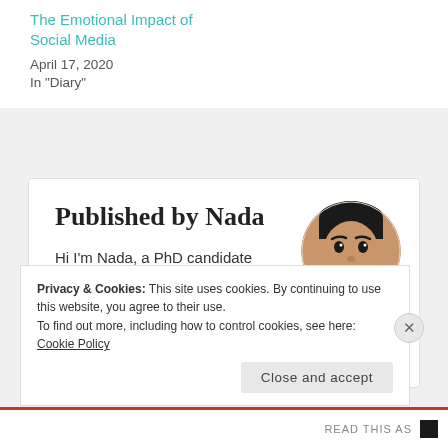The Emotional Impact of Social Media
April 17, 2020
In "Diary"
Published by Nada
Hi I'm Nada, a PhD candidate living in UK and here I share some bits and pieces of my life ;) View all posts by Nada
[Figure (photo): Circular profile photo of Nada]
Privacy & Cookies: This site uses cookies. By continuing to use this website, you agree to their use. To find out more, including how to control cookies, see here: Cookie Policy
Close and accept